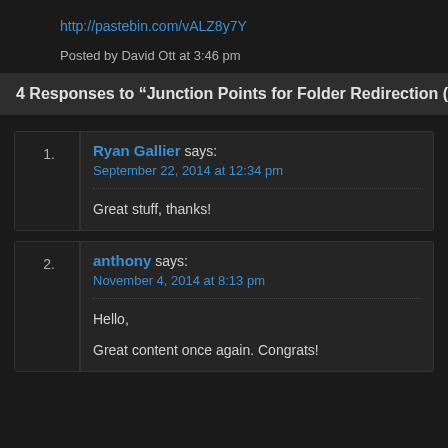http://pastebin.com/vALZ8y7Y
Posted by David Ott at 3:46 pm
4 Responses to “Junction Points for Folder Redirection (
1. Ryan Gallier says: September 22, 2014 at 12:34 pm
Great stuff, thanks!
2. anthony says: November 4, 2014 at 8:13 pm
Hello,

Great content once again. Congrats!